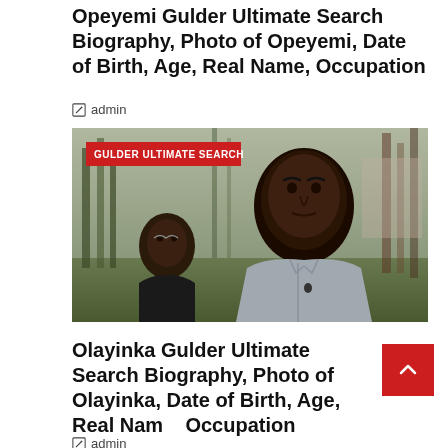Opeyemi Gulder Ultimate Search Biography, Photo of Opeyemi, Date of Birth, Age, Real Name, Occupation
admin
[Figure (photo): Two men in an outdoor forested setting. A red badge overlay reads 'GULDER ULTIMATE SEARCH'. The main subject is a young man in a grey shirt. A second man is partially visible in the lower left.]
Olayinka Gulder Ultimate Search Biography, Photo of Olayinka, Date of Birth, Age, Real Name, Occupation
admin